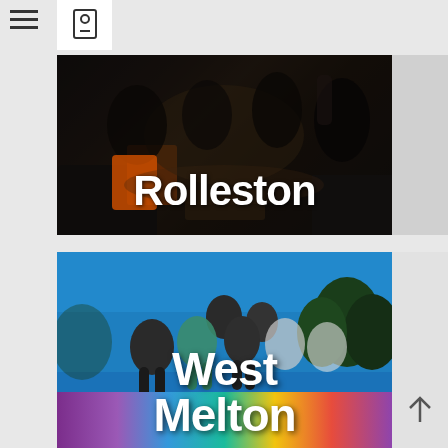[Figure (photo): Indoor scene showing a group of people sitting in a dark room with couches and a table, one person wearing an orange vest. Text overlay reads 'Rolleston' in large white bold font.]
[Figure (photo): Outdoor daytime photo of a group of teenagers/young people sitting on a colorful purple/blue/teal/yellow float or structure against a blue sky with trees in the background. Text overlay reads 'West Melton' in large white bold font.]